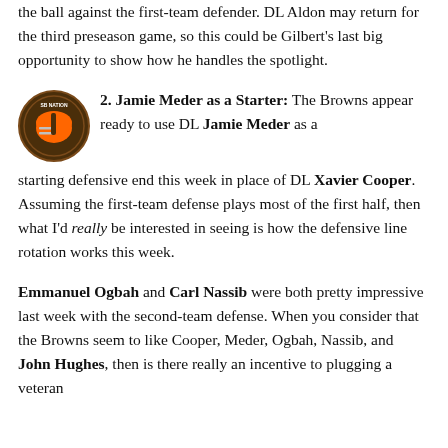the ball against the first-team defense. DL Aldon may return for the third preseason game, so this could be Gilbert's last big opportunity to show how he handles the spotlight.
2. Jamie Meder as a Starter: The Browns appear ready to use DL Jamie Meder as a starting defensive end this week in place of DL Xavier Cooper. Assuming the first-team defense plays most of the first half, then what I'd really be interested in seeing is how the defensive line rotation works this week.
Emmanuel Ogbah and Carl Nassib were both pretty impressive last week with the second-team defense. When you consider that the Browns seem to like Cooper, Meder, Ogbah, Nassib, and John Hughes, then is there really an incentive to plugging a veteran